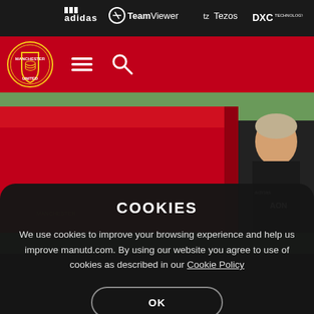adidas | TeamViewer | Tezos | DXC Technology
[Figure (screenshot): Manchester United red navigation bar with club crest logo, hamburger menu icon, and search icon on red background]
[Figure (photo): Man in dark jacket with Manchester United branding smiling near red training equipment on green pitch]
COOKIES
We use cookies to improve your browsing experience and help us improve manutd.com. By using our website you agree to use of cookies as described in our Cookie Policy
OK